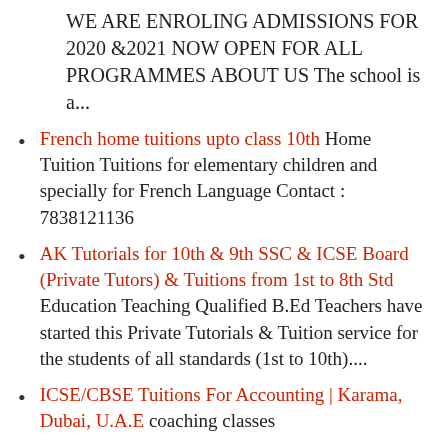WE ARE ENROLING ADMISSIONS FOR 2020 & 2021 NOW OPEN FOR ALL PROGRAMMES ABOUT US The school is a...
French home tuitions upto class 10th Home Tuition Tuitions for elementary children and specially for French Language Contact : 7838121136
AK Tutorials for 10th & 9th SSC & ICSE Board (Private Tutors) & Tuitions from 1st to 8th Std Education Teaching Qualified B.Ed Teachers have started this Private Tutorials & Tuition service for the students of all standards (1st to 10th)....
ICSE/CBSE Tuitions For Accounting | Karama, Dubai, U.A.E coaching classes